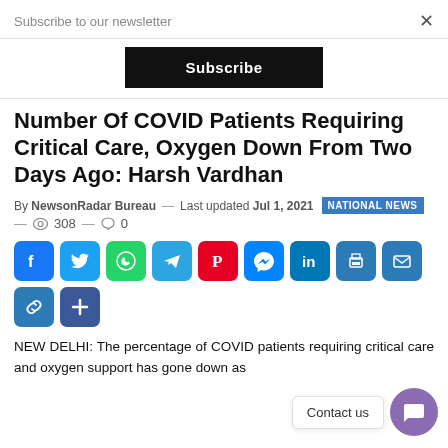Subscribe to our newsletter
Subscribe
Number Of COVID Patients Requiring Critical Care, Oxygen Down From Two Days Ago: Harsh Vardhan
By NewsonRadar Bureau — Last updated Jul 1, 2021 NATIONAL NEWS — 308 0
[Figure (infographic): Social media share buttons: Facebook, Twitter, WhatsApp, Telegram, Pinterest, Messenger, LinkedIn, Print, Email, Copy Link, and a Plus button]
NEW DELHI: The percentage of COVID patients requiring critical care and oxygen support has gone down as